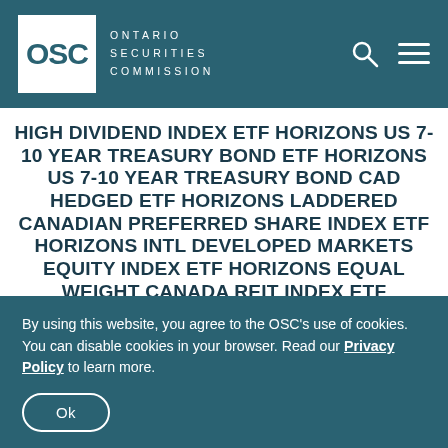OSC Ontario Securities Commission
HIGH DIVIDEND INDEX ETF HORIZONS US 7-10 YEAR TREASURY BOND ETF HORIZONS US 7-10 YEAR TREASURY BOND CAD HEDGED ETF HORIZONS LADDERED CANADIAN PREFERRED SHARE INDEX ETF HORIZONS INTL DEVELOPED MARKETS EQUITY INDEX ETF HORIZONS EQUAL WEIGHT CANADA REIT INDEX ETF HORIZONS EQUAL WEIGHT CANADA BANKS INDEX ETF HORIZONS GOLD ETF HORIZONS SILVER ETF HORIZONS CRUDE OIL ETF HORIZONS NATURAL GAS ETF BETAPRO GOLD BULLION 2X DAILY
By using this website, you agree to the OSC's use of cookies. You can disable cookies in your browser. Read our Privacy Policy to learn more.
Ok